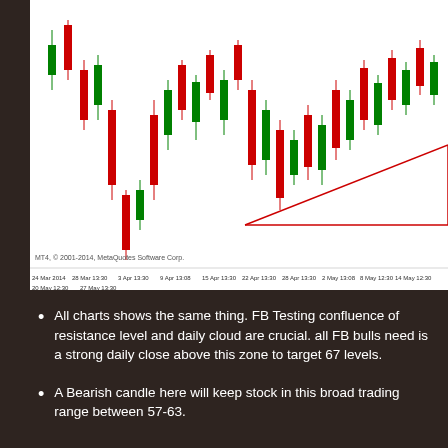[Figure (continuous-plot): Candlestick chart showing FB stock price action from 24 Mar 2014 to 27 May 2014 on MT4 platform by MetaQuotes Software Corp. Red and green candlesticks with a converging triangle (pennant/wedge) pattern drawn in red lines. X-axis shows dates from 24 Mar 2014 through 27 May 13:30.]
All charts shows the same thing. FB Testing confluence of resistance level and daily cloud are crucial. all FB bulls need is a strong daily close above this zone to target 67 levels.
A Bearish candle here will keep stock in this broad trading range between 57-63.